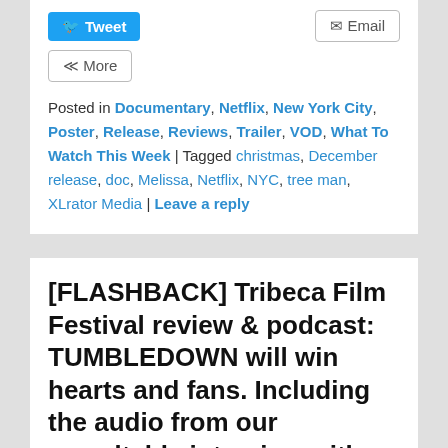Tweet  Email  More
Posted in Documentary, Netflix, New York City, Poster, Release, Reviews, Trailer, VOD, What To Watch This Week | Tagged christmas, December release, doc, Melissa, Netflix, NYC, tree man, XLrator Media | Leave a reply
[FLASHBACK] Tribeca Film Festival review & podcast: TUMBLEDOWN will win hearts and fans. Including the audio from our roundtable interview with Jason Sudeikis, Dianna Agron, Director Sean...